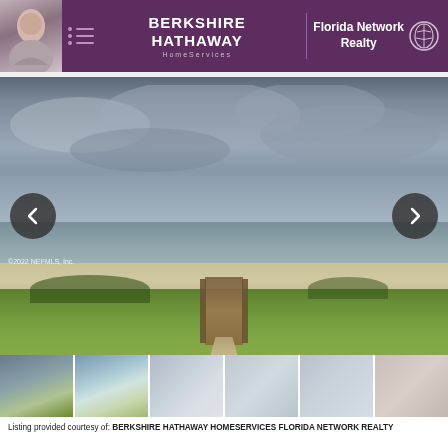[Figure (logo): Berkshire Hathaway HomeServices Florida Network Realty header with agent photo, menu icon, company logo, and profile icon]
[Figure (photo): Beachfront property photo showing green lawn, boardwalk path to sandy beach with ocean and dramatic cloudy sky. Navigation arrows on left and right. Watermark: ©2022 NEFMLS, Inc.]
[Figure (photo): Thumbnail strip of 6 property photos showing beach, ocean, and interior views]
Listing provided courtesy of: BERKSHIRE HATHAWAY HOMESERVICES FLORIDA NETWORK REALTY